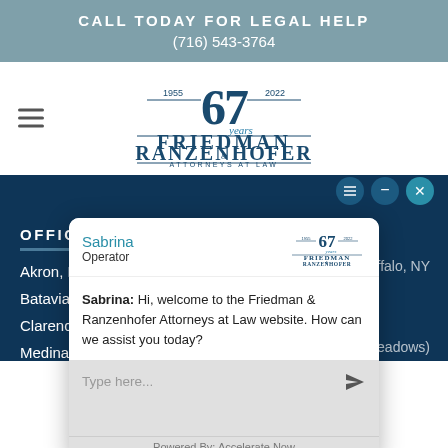CALL TODAY FOR LEGAL HELP
(716) 543-3764
[Figure (logo): Friedman & Ranzenhofer Attorneys at Law logo with 67 years (1955-2022)]
Sabrina
Operator
Sabrina: Hi, welcome to the Friedman & Ranzenhofer Attorneys at Law website. How can we assist you today?
Type here...
Powered By: Accelerate Now
OFFICES
Akron, NY
Batavia, NY
Clarence / W
Medina, NY